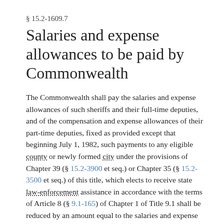§ 15.2-1609.7
Salaries and expense allowances to be paid by Commonwealth
The Commonwealth shall pay the salaries and expense allowances of such sheriffs and their full-time deputies, and of the compensation and expense allowances of their part-time deputies, fixed as provided except that beginning July 1, 1982, such payments to any eligible county or newly formed city under the provisions of Chapter 39 (§ 15.2-3900 et seq.) or Chapter 35 (§ 15.2-3500 et seq.) of this title, which elects to receive state law-enforcement assistance in accordance with the terms of Article 8 (§ 9.1-165) of Chapter 1 of Title 9.1 shall be reduced by an amount equal to the salaries and expense allowances of its law-enforcement deputy sheriffs or the amount of state